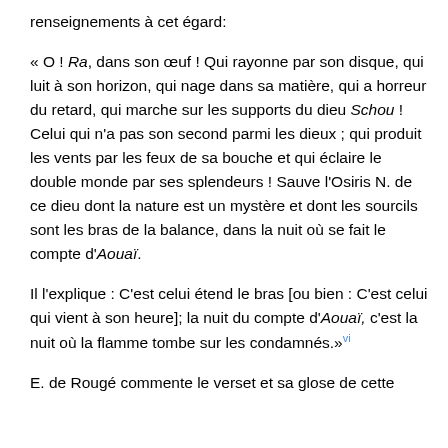renseignements à cet égard:
« O ! Ra, dans son œuf ! Qui rayonne par son disque, qui luit à son horizon, qui nage dans sa matière, qui a horreur du retard, qui marche sur les supports du dieu Schou ! Celui qui n'a pas son second parmi les dieux ; qui produit les vents par les feux de sa bouche et qui éclaire le double monde par ses splendeurs ! Sauve l'Osiris N. de ce dieu dont la nature est un mystère et dont les sourcils sont les bras de la balance, dans la nuit où se fait le compte d'Aouaï.
Il l'explique : C'est celui étend le bras [ou bien : C'est celui qui vient à son heure]; la nuit du compte d'Aouaï, c'est la nuit où la flamme tombe sur les condamnés.»[vi]
E. de Rougé commente le verset et sa glose de cette